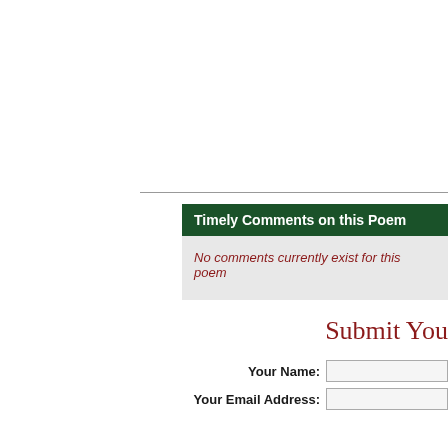Timely Comments on this Poem
No comments currently exist for this poem
Submit You
Your Name:
Your Email Address:
Comment: